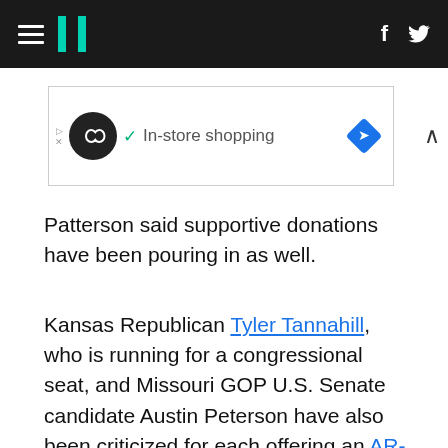HuffPost navigation bar with hamburger menu, logo, Facebook and Twitter icons
[Figure (other): Advertisement banner: circular logo with infinity symbol, checkmark, 'In-store shopping' text, blue diamond arrow icon]
Patterson said supportive donations have been pouring in as well.
Kansas Republican Tyler Tannahill, who is running for a congressional seat, and Missouri GOP U.S. Senate candidate Austin Peterson have also been criticized for each offering an AR-15 giveaway to draw attention to their campaigns, KMOV-TV reported.
Another gun raffle in Michigan has been cancelled, the Detroit Free Press reported. The